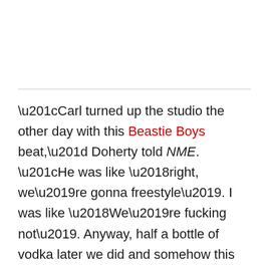“Carl turned up the studio the other day with this Beastie Boys beat,” Doherty told NME. “He was like ‘right, we’re gonna freestyle’. I was like ‘We’re fucking not’. Anyway, half a bottle of vodka later we did and somehow this absolutely diabolical screaming and ranting thing, which was our take on freestyle rap, has been turned into this quite amazing… It’s not even a pastiche, it’s a fucking good song.”